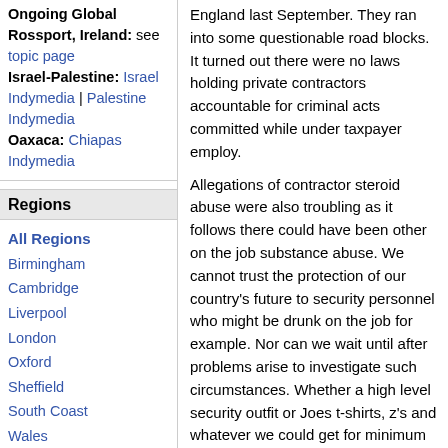Ongoing Global
Rossport, Ireland: see topic page
Israel-Palestine: Israel Indymedia | Palestine Indymedia
Oaxaca: Chiapas Indymedia
Regions
All Regions
Birmingham
Cambridge
Liverpool
London
Oxford
Sheffield
South Coast
Wales
World
Other Local IMCs
England last September. They ran into some questionable road blocks. It turned out there were no laws holding private contractors accountable for criminal acts committed while under taxpayer employ.
Allegations of contractor steroid abuse were also troubling as it follows there could have been other on the job substance abuse. We cannot trust the protection of our country's future to security personnel who might be drunk on the job for example. Nor can we wait until after problems arise to investigate such circumstances. Whether a high level security outfit or Joes t-shirts, z's and whatever we could get for minimum wage security guyses most Americans would agree some measure of oversight is prudent.
It concerns me because while a student at The University of Connecticut from 2003 to 2006 I discovered things most Americans